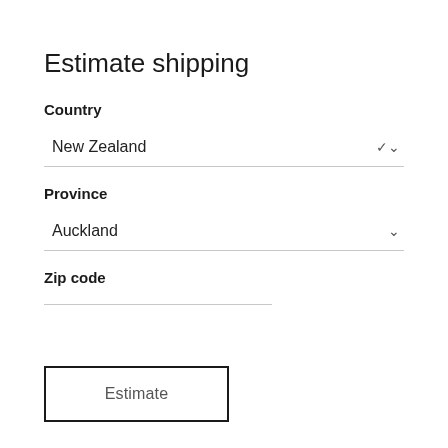Estimate shipping
Country
New Zealand
Province
Auckland
Zip code
Estimate